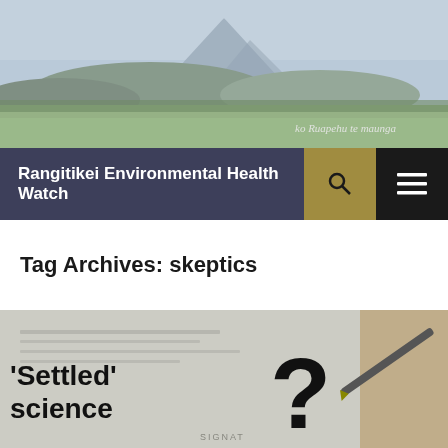[Figure (photo): Landscape photo showing green fields and a snow-capped mountain (Ruapehu) in the background with pale sky. Italic handwritten text 'ko Ruapehu te maunga' in bottom right area.]
Rangitikei Environmental Health Watch
Tag Archives: skeptics
[Figure (photo): Close-up photo of a document/paper being signed with a pen. Bold text overlay reads ''Settled' science' with a large bold question mark symbol. The word 'SIGNATURE' is partially visible at the bottom of the document.]